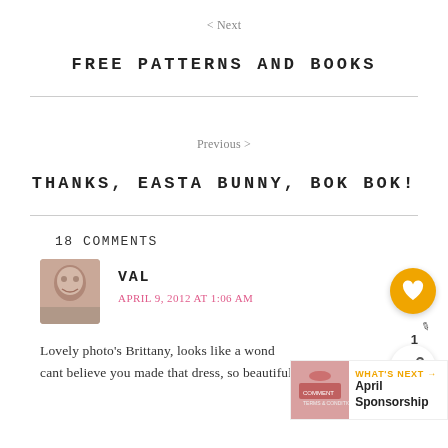< Next
FREE PATTERNS AND BOOKS
Previous >
THANKS, EASTA BUNNY, BOK BOK!
18 COMMENTS
VAL
APRIL 9, 2012 AT 1:06 AM
Lovely photo's Brittany, looks like a wond… cant believe you made that dress, so beautiful (I
WHAT'S NEXT → April Sponsorship